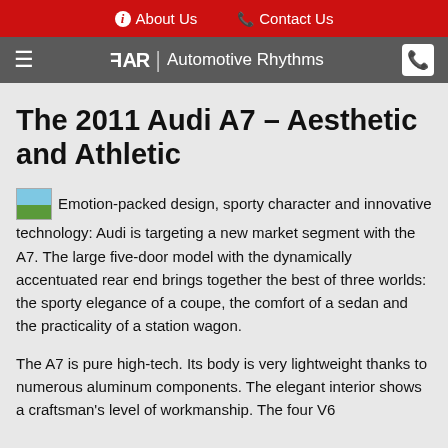About Us   Contact Us
FAR | Automotive Rhythms
The 2011 Audi A7 – Aesthetic and Athletic
Emotion-packed design, sporty character and innovative technology: Audi is targeting a new market segment with the A7. The large five-door model with the dynamically accentuated rear end brings together the best of three worlds: the sporty elegance of a coupe, the comfort of a sedan and the practicality of a station wagon.
The A7 is pure high-tech. Its body is very lightweight thanks to numerous aluminum components. The elegant interior shows a craftsman's level of workmanship. The four V6